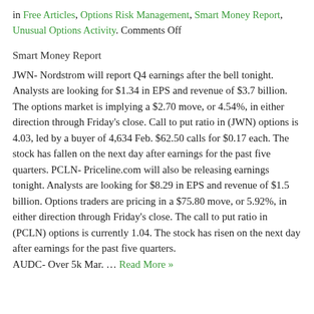in Free Articles, Options Risk Management, Smart Money Report, Unusual Options Activity. Comments Off
Smart Money Report
JWN- Nordstrom will report Q4 earnings after the bell tonight. Analysts are looking for $1.34 in EPS and revenue of $3.7 billion. The options market is implying a $2.70 move, or 4.54%, in either direction through Friday's close. Call to put ratio in (JWN) options is 4.03, led by a buyer of 4,634 Feb. $62.50 calls for $0.17 each. The stock has fallen on the next day after earnings for the past five quarters. PCLN- Priceline.com will also be releasing earnings tonight. Analysts are looking for $8.29 in EPS and revenue of $1.5 billion. Options traders are pricing in a $75.80 move, or 5.92%, in either direction through Friday's close. The call to put ratio in (PCLN) options is currently 1.04. The stock has risen on the next day after earnings for the past five quarters. AUDC- Over 5k Mar. … Read More »